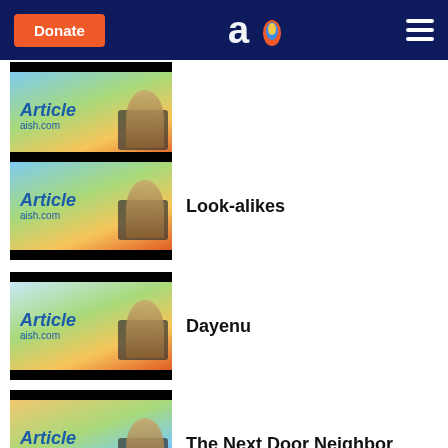Donate | aish.com logo | menu
[Figure (screenshot): Article thumbnail with 'Article aish.com' text overlay, person sitting in chair outdoors]
Look-alikes
[Figure (screenshot): Article thumbnail with 'Article aish.com' text overlay, person sitting in chair outdoors]
Dayenu
[Figure (screenshot): Article thumbnail with 'Article aish.com' text overlay, person sitting in chair outdoors]
The Next Door Neighbor